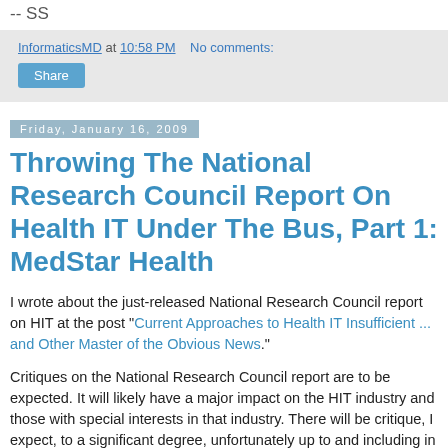-- SS
InformaticsMD at 10:58 PM   No comments:
Share
Friday, January 16, 2009
Throwing The National Research Council Report On Health IT Under The Bus, Part 1: MedStar Health
I wrote about the just-released National Research Council report on HIT at the post "Current Approaches to Health IT Insufficient ... and Other Master of the Obvious News."
Critiques on the National Research Council report are to be expected. It will likely have a major impact on the HIT industry and those with special interests in that industry. There will be critique, I expect, to a significant degree, unfortunately up to and including in today's political climate